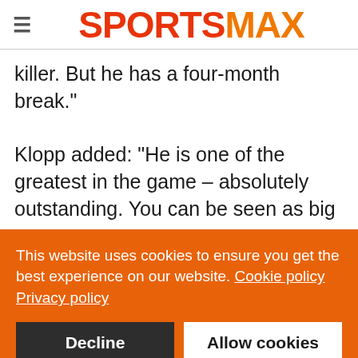SPORTSMAX
killer. But he has a four-month break."

Klopp added: "He is one of the greatest in the game – absolutely outstanding. You can be seen as big
This website uses cookies to ensure you get the best experience on our website. Cookie policy Privacy policy
Decline  Allow cookies